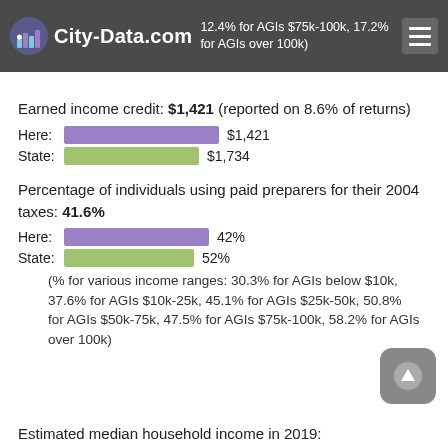12.4% for AGIs $75k-100k, 17.2% for AGIs over 100k)
Earned income credit: $1,421 (reported on 8.6% of returns)
[Figure (bar-chart): Earned income credit comparison]
Percentage of individuals using paid preparers for their 2004 taxes: 41.6%
[Figure (bar-chart): Paid preparers percentage comparison]
(% for various income ranges: 30.3% for AGIs below $10k, 37.6% for AGIs $10k-25k, 45.1% for AGIs $25k-50k, 50.8% for AGIs $50k-75k, 47.5% for AGIs $75k-100k, 58.2% for AGIs over 100k)
Estimated median household income in 2019: